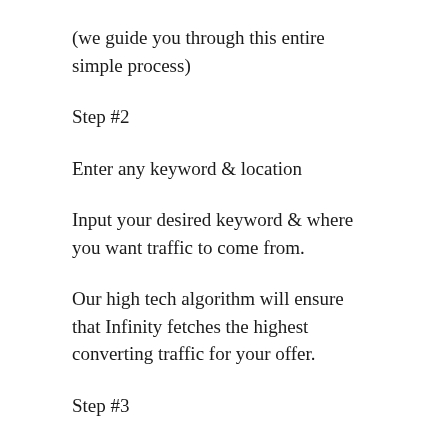(we guide you through this entire simple process)
Step #2
Enter any keyword & location
Input your desired keyword & where you want traffic to come from.
Our high tech algorithm will ensure that Infinity fetches the highest converting traffic for your offer.
Step #3